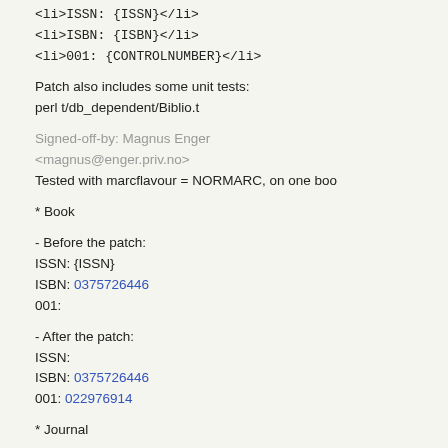<li>ISSN: {ISSN}</li>
<li>ISBN: {ISBN}</li>
<li>001: {CONTROLNUMBER}</li>
Patch also includes some unit tests:
perl t/db_dependent/Biblio.t
Signed-off-by: Magnus Enger <magnus@enger.priv.no>
Tested with marcflavour = NORMARC, on one boo
* Book
- Before the patch:
ISSN: {ISSN}
ISBN: 0375726446
001:
- After the patch:
ISSN:
ISBN: 0375726446
001: 022976914
* Journal
- Before the patch:
ISSN: {ISSN}
ISBN:
001: